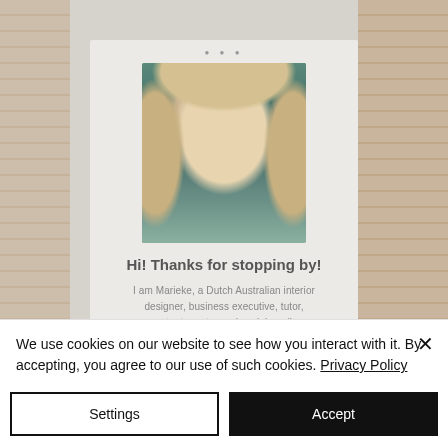[Figure (screenshot): Screenshot of a website showing a profile card with a photo of a blonde woman wearing glasses, with navigation dots at top. Background shows brick texture on right and left sides. The card has title 'Hi! Thanks for stopping by!' and introductory text about Marieke.]
Hi! Thanks for stopping by!
I am Marieke, a Dutch Australian interior designer, business executive, tutor, content creator and social media influencer.
We use cookies on our website to see how you interact with it. By accepting, you agree to our use of such cookies. Privacy Policy